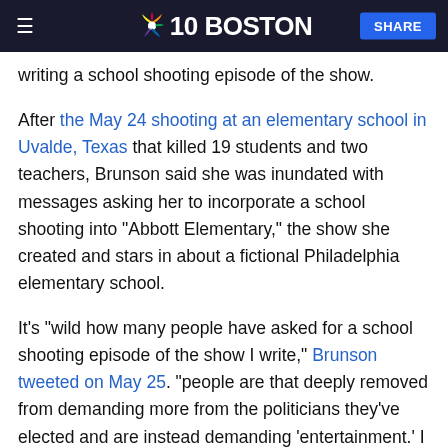NBC 10 Boston | SHARE
writing a school shooting episode of the show.
After the May 24 shooting at an elementary school in Uvalde, Texas that killed 19 students and two teachers, Brunson said she was inundated with messages asking her to incorporate a school shooting into "Abbott Elementary," the show she created and stars in about a fictional Philadelphia elementary school.
It's "wild how many people have asked for a school shooting episode of the show I write," Brunson tweeted on May 25. "people are that deeply removed from demanding more from the politicians they've elected and are instead demanding 'entertainment.' I can't ask 'are yall ok' anymore because the answer is 'no.'"